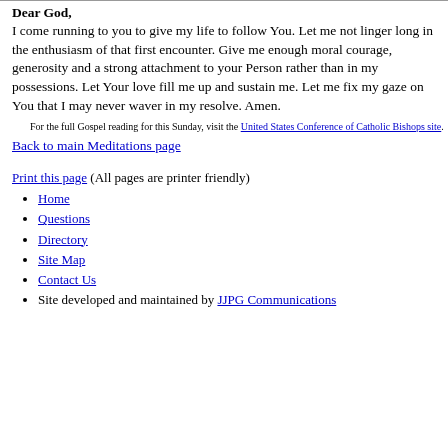Dear God,
I come running to you to give my life to follow You. Let me not linger long in the enthusiasm of that first encounter. Give me enough moral courage, generosity and a strong attachment to your Person rather than in my possessions. Let Your love fill me up and sustain me. Let me fix my gaze on You that I may never waver in my resolve. Amen.
For the full Gospel reading for this Sunday, visit the United States Conference of Catholic Bishops site.
Back to main Meditations page
Print this page (All pages are printer friendly)
Home
Questions
Directory
Site Map
Contact Us
Site developed and maintained by JJPG Communications